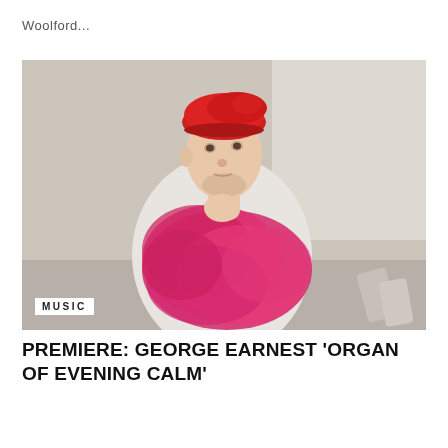Woolford...
[Figure (photo): A young man wearing a red beret and a floral shirt, holding a large pink faux-fur stole up to his chin in a thoughtful pose against a light grey background.]
MUSIC
PREMIERE: GEORGE EARNEST ‘ORGAN OF EVENING CALM’